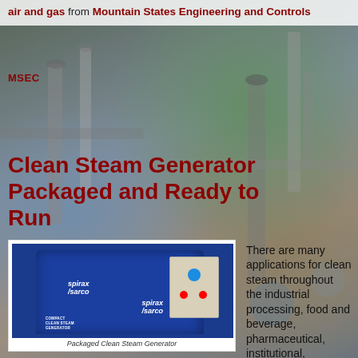air and gas from Mountain States Engineering and Controls
MSEC
Clean Steam Generator Packaged and Ready to Run
[Figure (photo): Spirax Sarco Compact Clean Steam Generator - a blue industrial unit with control panel on wheels]
Packaged Clean Steam Generator
There are many applications for clean steam throughout the industrial processing, food and beverage, pharmaceutical, institutional,